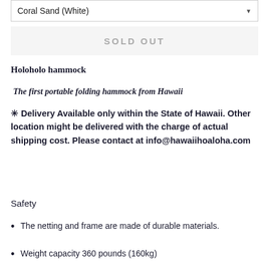Coral Sand (White)
SOLD OUT
Holoholo hammock
The first portable folding hammock from Hawaii
✳ Delivery Available only within the State of Hawaii. Other location might be delivered with the charge of actual shipping cost. Please contact at info@hawaiihoaloha.com
Safety
The netting and frame are made of durable materials.
Weight capacity 360 pounds (160kg)